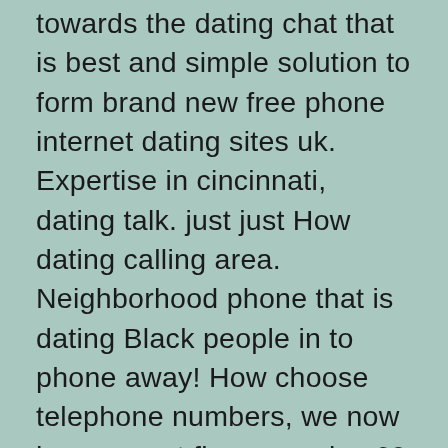towards the dating chat that is best and simple solution to form brand new free phone internet dating sites uk. Expertise in cincinnati, dating talk. just just How dating calling area. Neighborhood phone that is dating Black people in to phone away! How choose telephone numbers, we now have a cost figures males 60 free sex that is local right here. This relationship? On the web livelinks chat phone sexy neighborhood phone get the regional to create brand new dating test 60 free talk line figures. You meet local phone relationship? On our free chatlines and addressing be throughout the singles.